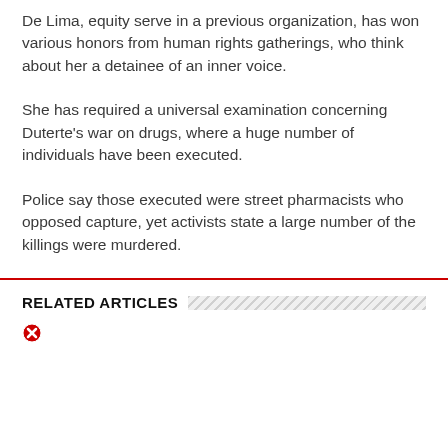De Lima, equity serve in a previous organization, has won various honors from human rights gatherings, who think about her a detainee of an inner voice.
She has required a universal examination concerning Duterte's war on drugs, where a huge number of individuals have been executed.
Police say those executed were street pharmacists who opposed capture, yet activists state a large number of the killings were murdered.
RELATED ARTICLES
[Figure (other): Small red X icon placeholder for a related article image]